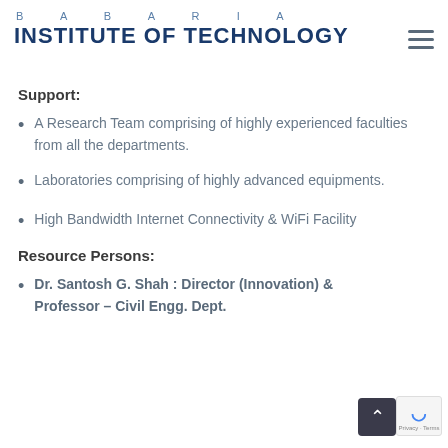BABARIA INSTITUTE OF TECHNOLOGY
Support:
A Research Team comprising of highly experienced faculties from all the departments.
Laboratories comprising of highly advanced equipments.
High Bandwidth Internet Connectivity & WiFi Facility
Resource Persons:
Dr. Santosh G. Shah : Director (Innovation) & Professor – Civil Engg. Dept.